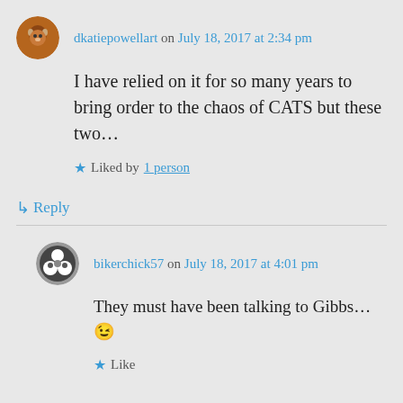dkatiepowellart on July 18, 2017 at 2:34 pm
I have relied on it for so many years to bring order to the chaos of CATS but these two…
★ Liked by 1 person
↳ Reply
bikerchick57 on July 18, 2017 at 4:01 pm
They must have been talking to Gibbs… 😉
★ Like